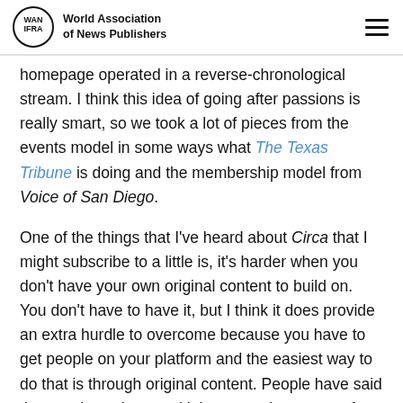World Association of News Publishers
homepage operated in a reverse-chronological stream. I think this idea of going after passions is really smart, so we took a lot of pieces from the events model in some ways what The Texas Tribune is doing and the membership model from Voice of San Diego.
One of the things that I've heard about Circa that I might subscribe to a little is, it's harder when you don't have your own original content to build on. You don't have to have it, but I think it does provide an extra hurdle to overcome because you have to get people on your platform and the easiest way to do that is through original content. People have said that we do such a good job on curating content from all around Philadelphia, and wonder if we considered not incurring the expense of having